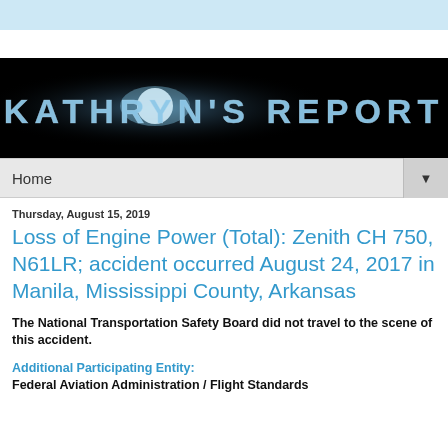[Figure (logo): Kathryn's Report logo banner — dark background with stylized glowing text reading KATHRYN'S REPORT]
Home ▼
Thursday, August 15, 2019
Loss of Engine Power (Total): Zenith CH 750, N61LR; accident occurred August 24, 2017 in Manila, Mississippi County, Arkansas
The National Transportation Safety Board did not travel to the scene of this accident.
Additional Participating Entity:
Federal Aviation Administration / Flight Standards